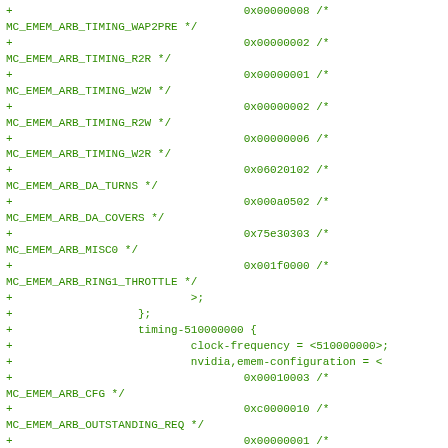Code snippet showing device tree / configuration file additions for MC_EMEM_ARB timing parameters including WAP2PRE, R2R, W2W, R2W, W2R, DA_TURNS, DA_COVERS, MISC0, RING1_THROTTLE, and timing-510000000 block with clock-frequency, nvidia,emem-configuration values for MC_EMEM_ARB_CFG, MC_EMEM_ARB_OUTSTANDING_REQ, MC_EMEM_ARB_TIMING_RCD